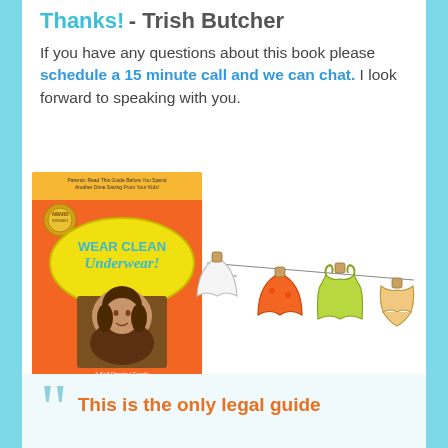Thanks! - Trish Butcher
If you have any questions about this book please schedule a 15 minute call and we can chat. I look forward to speaking with you.
[Figure (illustration): Book cover of 'Wear Clean Underwear!' by Alexis Martin Neely, shown next to a clothesline illustration with underwear and clothing items hanging on it.]
This is the only legal guide